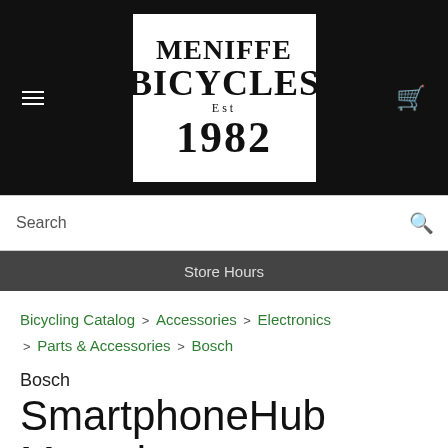[Figure (logo): Meniffe Bicycles Est 1982 logo — black text on white background inside a dark header bar]
Search | Store Hours
Bicycling Catalog > Accessories > Electronics > Parts & Accessories > Bosch
Bosch
SmartphoneHub Mounting